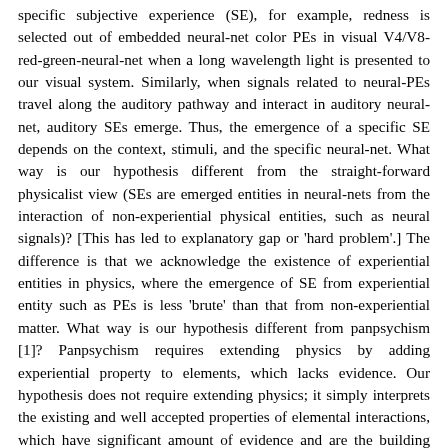specific subjective experience (SE), for example, redness is selected out of embedded neural-net color PEs in visual V4/V8-red-green-neural-net when a long wavelength light is presented to our visual system. Similarly, when signals related to neural-PEs travel along the auditory pathway and interact in auditory neural-net, auditory SEs emerge. Thus, the emergence of a specific SE depends on the context, stimuli, and the specific neural-net. What way is our hypothesis different from the straight-forward physicalist view (SEs are emerged entities in neural-nets from the interaction of non-experiential physical entities, such as neural signals)? [This has led to explanatory gap or 'hard problem'.] The difference is that we acknowledge the existence of experiential entities in physics, where the emergence of SE from experiential entity such as PEs is less 'brute' than that from non-experiential matter. What way is our hypothesis different from panpsychism [1]? Panpsychism requires extending physics by adding experiential property to elements, which lacks evidence. Our hypothesis does not require extending physics; it simply interprets the existing and well accepted properties of elemental interactions, which have significant amount of evidence and are the building blocks of physical universe. Our hypothesis implies that non-experiential matter (mass, charge, and space-time) and related elemental proto-experiences (PEs) co-evolved and co-developed, leading to neural-nets and related PEs, respectively. Furthermore, there could be three types of explanatory gaps, namely the gap between (i) SEs and descriptions of SEs, (ii) SEs and descriptions of SEs